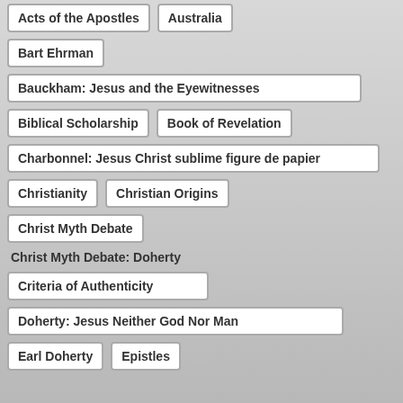Acts of the Apostles
Australia
Bart Ehrman
Bauckham: Jesus and the Eyewitnesses
Biblical Scholarship
Book of Revelation
Charbonnel: Jesus Christ sublime figure de papier
Christianity
Christian Origins
Christ Myth Debate
Christ Myth Debate: Doherty
Criteria of Authenticity
Doherty: Jesus Neither God Nor Man
Earl Doherty
Epistles